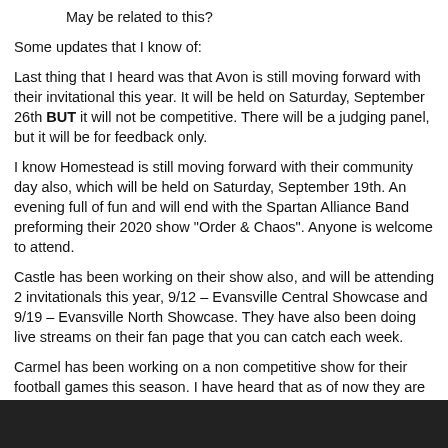May be related to this?
Some updates that I know of:
Last thing that I heard was that Avon is still moving forward with their invitational this year. It will be held on Saturday, September 26th BUT it will not be competitive. There will be a judging panel, but it will be for feedback only.
I know Homestead is still moving forward with their community day also, which will be held on Saturday, September 19th. An evening full of fun and will end with the Spartan Alliance Band preforming their 2020 show "Order & Chaos". Anyone is welcome to attend.
Castle has been working on their show also, and will be attending 2 invitationals this year, 9/12 – Evansville Central Showcase and 9/19 – Evansville North Showcase. They have also been doing live streams on their fan page that you can catch each week.
Carmel has been working on a non competitive show for their football games this season. I have heard that as of now they are NOT planning on attending Avon's invitational.
Fishers is also working on a non competitive show and will be preforming at their football games this year. Also, not planning to attend the Avon